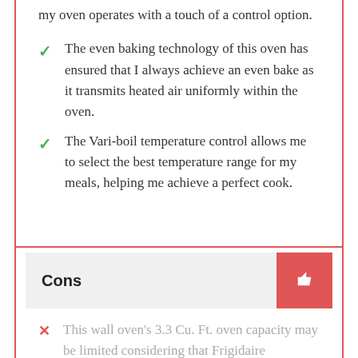my oven operates with a touch of a control option.
The even baking technology of this oven has ensured that I always achieve an even bake as it transmits heated air uniformly within the oven.
The Vari-boil temperature control allows me to select the best temperature range for my meals, helping me achieve a perfect cook.
Cons
This wall oven's 3.3 Cu. Ft. oven capacity may be limited considering that Frigidaire